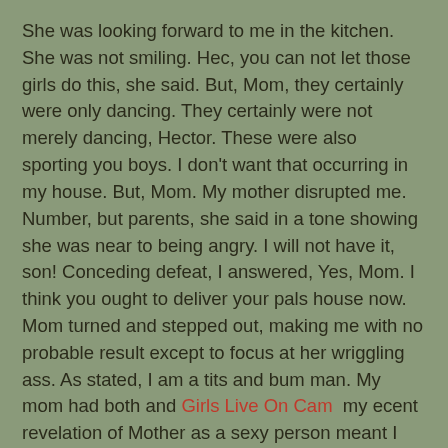She was looking forward to me in the kitchen. She was not smiling. Hec, you can not let those girls do this, she said. But, Mom, they certainly were only dancing. They certainly were not merely dancing, Hector. These were also sporting you boys. I don't want that occurring in my house. But, Mom. My mother disrupted me. Number, but parents, she said in a tone showing she was near to being angry. I will not have it, son! Conceding defeat, I answered, Yes, Mom. I think you ought to deliver your pals house now. Mom turned and stepped out, making me with no probable result except to focus at her wriggling ass. As stated, I am a tits and bum man. My mom had both and Girls Live On Cam  my ecent revelation of Mother as a sexy person meant I admired her in a bikini. Just as she was about to leave the area, she turned suddenly, finding me dmiring her ass. Send them home now, Hector, she demanded.
Unfortunately, being focused on Mom's boobs, I tripped on the hose of the pool vacuum. Obviously, I dropped into the